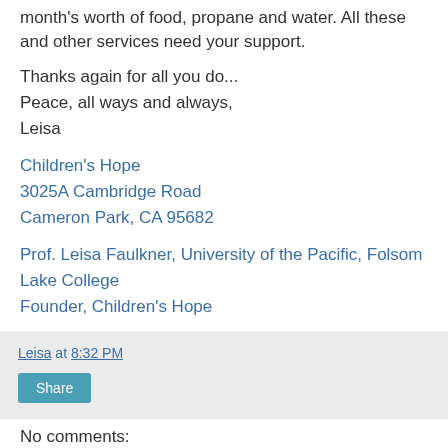month's worth of food, propane and water. All these and other services need your support.
Thanks again for all you do...
Peace, all ways and always,
Leisa
Children's Hope
3025A Cambridge Road
Cameron Park, CA 95682
Prof. Leisa Faulkner, University of the Pacific, Folsom Lake College
Founder, Children's Hope
Leisa at 8:32 PM
Share
No comments: